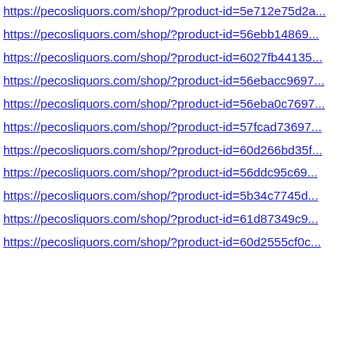https://pecosliquors.com/shop/?product-id=5e712e75d2a...
https://pecosliquors.com/shop/?product-id=56ebb14869...
https://pecosliquors.com/shop/?product-id=6027fb44135...
https://pecosliquors.com/shop/?product-id=56ebacc9697...
https://pecosliquors.com/shop/?product-id=56eba0c7697...
https://pecosliquors.com/shop/?product-id=57fcad73697...
https://pecosliquors.com/shop/?product-id=60d266bd35f...
https://pecosliquors.com/shop/?product-id=56ddc95c69...
https://pecosliquors.com/shop/?product-id=5b34c7745d...
https://pecosliquors.com/shop/?product-id=61d87349c9...
https://pecosliquors.com/shop/?product-id=60d2555cf0c...